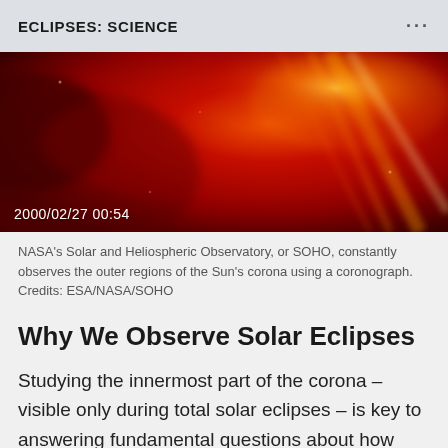ECLIPSES: SCIENCE
[Figure (photo): Red-toned solar corona image captured by SOHO, showing bright streaks and plasma structures against a deep red background. Timestamp '2000/02/27 00:54' overlaid in white at bottom left.]
NASA's Solar and Heliospheric Observatory, or SOHO, constantly observes the outer regions of the Sun's corona using a coronograph. Credits: ESA/NASA/SOHO
Why We Observe Solar Eclipses
Studying the innermost part of the corona – visible only during total solar eclipses – is key to answering fundamental questions about how heat and energy are transferred from the Sun out into the solar wind, the constant